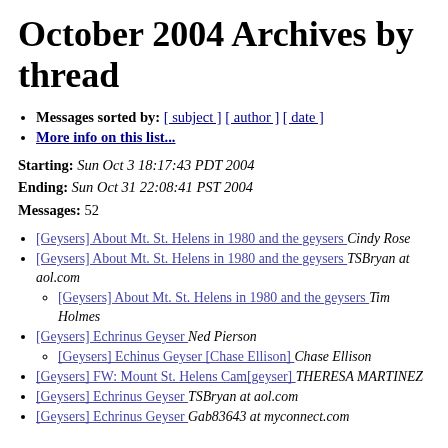October 2004 Archives by thread
Messages sorted by: [ subject ] [ author ] [ date ]
More info on this list...
Starting: Sun Oct 3 18:17:43 PDT 2004
Ending: Sun Oct 31 22:08:41 PST 2004
Messages: 52
[Geysers] About Mt. St. Helens in 1980 and the geysers  Cindy Rose
[Geysers] About Mt. St. Helens in 1980 and the geysers  TSBryan at aol.com
[Geysers] About Mt. St. Helens in 1980 and the geysers  Tim Holmes
[Geysers] Echrinus Geyser  Ned Pierson
[Geysers] Echinus Geyser [Chase Ellison]  Chase Ellison
[Geysers] FW: Mount St. Helens Cam[geyser]  THERESA MARTINEZ
[Geysers] Echrinus Geyser  TSBryan at aol.com
[Geysers] Echrinus Geyser  Gab83643 at myconnect.com